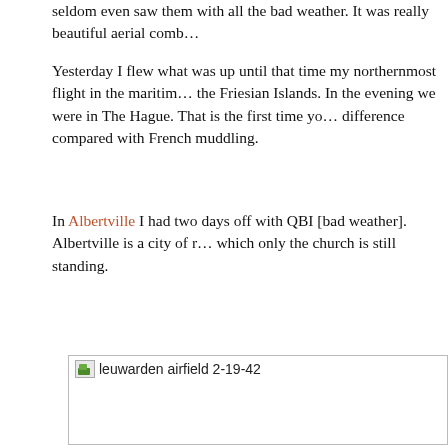seldom even saw them with all the bad weather. It was really beautiful aerial comb…
Yesterday I flew what was up until that time my northernmost flight in the maritime… the Friesian Islands. In the evening we were in The Hague. That is the first time yo… difference compared with French muddling.
In Albertville I had two days off with QBI [bad weather]. Albertville is a city of r… which only the church is still standing.
[Figure (photo): Placeholder image with label 'leuwarden airfield 2-19-42'. The image failed to load (broken image icon shown).]